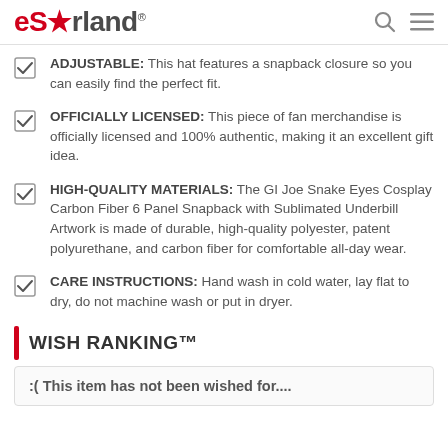eStarland
ADJUSTABLE: This hat features a snapback closure so you can easily find the perfect fit.
OFFICIALLY LICENSED: This piece of fan merchandise is officially licensed and 100% authentic, making it an excellent gift idea.
HIGH-QUALITY MATERIALS: The GI Joe Snake Eyes Cosplay Carbon Fiber 6 Panel Snapback with Sublimated Underbill Artwork is made of durable, high-quality polyester, patent polyurethane, and carbon fiber for comfortable all-day wear.
CARE INSTRUCTIONS: Hand wash in cold water, lay flat to dry, do not machine wash or put in dryer.
WISH RANKING™
:( This item has not been wished for....